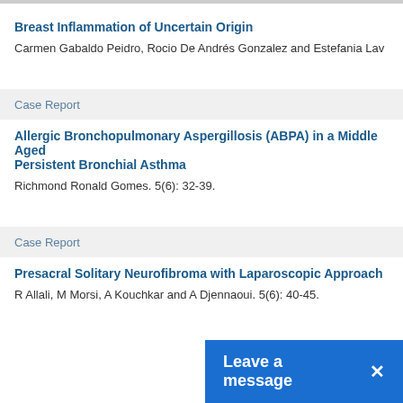Breast Inflammation of Uncertain Origin
Carmen Gabaldo Peidro, Rocio De Andrés Gonzalez and Estefania Lav
Case Report
Allergic Bronchopulmonary Aspergillosis (ABPA) in a Middle Aged Persistent Bronchial Asthma
Richmond Ronald Gomes. 5(6): 32-39.
Case Report
Presacral Solitary Neurofibroma with Laparoscopic Approach
R Allali, M Morsi, A Kouchkar and A Djennaoui. 5(6): 40-45.
[Figure (screenshot): Leave a message button bar at bottom right]